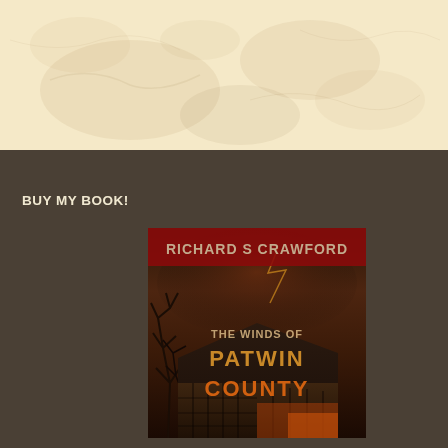[Figure (illustration): Top banner with aged parchment/cream textured background with subtle mottled pattern]
BUY MY BOOK!
[Figure (illustration): Book cover for 'The Winds of Patwin County' by Richard S Crawford, showing a dark moody scene with an old barn and bare trees under a stormy sky, with the title text in orange/red grunge style lettering]